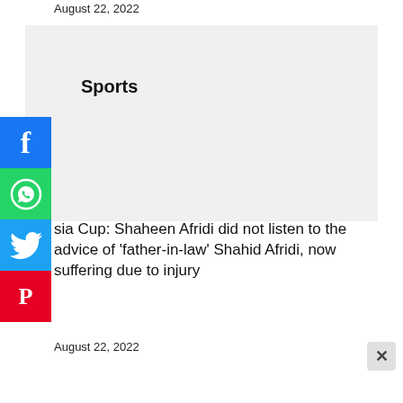August 22, 2022
Sports
Asia Cup: Shaheen Afridi did not listen to the advice of 'father-in-law' Shahid Afridi, now suffering due to injury
August 22, 2022